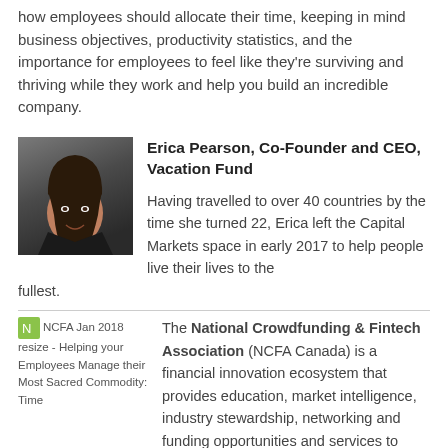how employees should allocate their time, keeping in mind business objectives, productivity statistics, and the importance for employees to feel like they're surviving and thriving while they work and help you build an incredible company.
[Figure (photo): Headshot photo of Erica Pearson, a woman with dark hair, smiling, wearing a dark jacket against a dark background.]
Erica Pearson, Co-Founder and CEO, Vacation Fund

Having travelled to over 40 countries by the time she turned 22, Erica left the Capital Markets space in early 2017 to help people live their lives to the fullest.
[Figure (logo): NCFA Jan 2018 resize - Helping your Employees Manage their Most Sacred Commodity: Time]
The National Crowdfunding & Fintech Association (NCFA Canada) is a financial innovation ecosystem that provides education, market intelligence, industry stewardship, networking and funding opportunities and services to thousands of community members and works closely with industry, government,